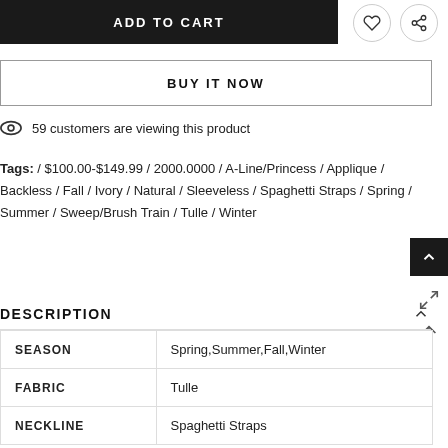ADD TO CART
BUY IT NOW
59 customers are viewing this product
Tags: / $100.00-$149.99 / 2000.0000 / A-Line/Princess / Applique / Backless / Fall / Ivory / Natural / Sleeveless / Spaghetti Straps / Spring / Summer / Sweep/Brush Train / Tulle / Winter
DESCRIPTION
|  |  |
| --- | --- |
| SEASON | Spring,Summer,Fall,Winter |
| FABRIC | Tulle |
| NECKLINE | Spaghetti Straps |